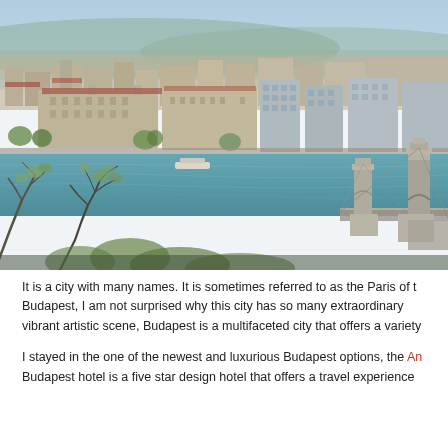[Figure (photo): Aerial panoramic view of Budapest showing the Danube River, Chain Bridge on the right, classical buildings along the riverbank (Pest side), and trees in the foreground. Blue-green tinted photograph taken from Buda castle hill.]
It is a city with many names. It is sometimes referred to as the Paris of t... Budapest, I am not surprised why this city has so many extraordinary ... vibrant artistic scene, Budapest is a multifaceted city that offers a variety...
I stayed in the one of the newest and luxurious Budapest options, the An... Budapest hotel is a five star design hotel that offers a travel experience...